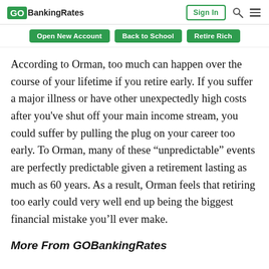GOBankingRates | Sign In
Open New Account | Back to School | Retire Rich
According to Orman, too much can happen over the course of your lifetime if you retire early. If you suffer a major illness or have other unexpectedly high costs after you've shut off your main income stream, you could suffer by pulling the plug on your career too early. To Orman, many of these “unpredictable” events are perfectly predictable given a retirement lasting as much as 60 years. As a result, Orman feels that retiring too early could very well end up being the biggest financial mistake you'll ever make.
More From GOBankingRates